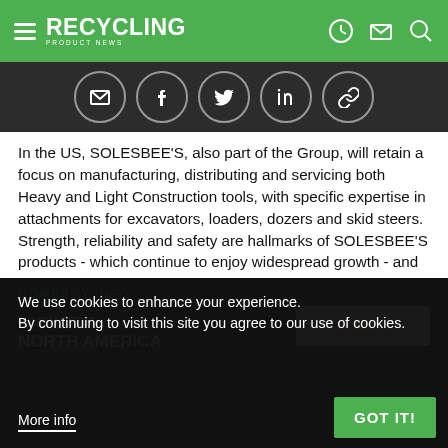RECYCLING PRODUCT NEWS
[Figure (infographic): Social share icons: email, Facebook, Twitter, LinkedIn, link/chain]
In the US, SOLESBEE'S, also part of the Group, will retain a focus on manufacturing, distributing and servicing both Heavy and Light Construction tools, with specific expertise in attachments for excavators, loaders, dozers and skid steers. Strength, reliability and safety are hallmarks of SOLESBEE'S products - which continue to enjoy widespread growth - and will be complemented by product ranges from KINSHOFER and technology brand Auger Torque.
COMPANY INFO
KINSHOFER NORTH AMERICA
[Figure (logo): KINSHOFER logo in white/orange on dark background]
We use cookies to enhance your experience. By continuing to visit this site you agree to our use of cookies.
More info
GOT IT!